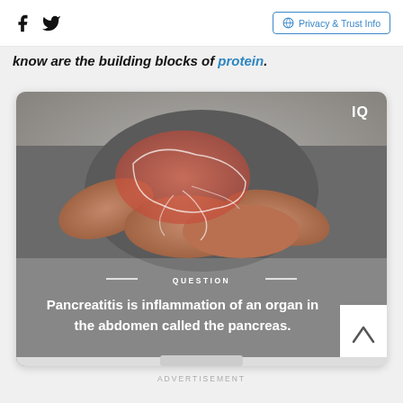Facebook Twitter | Privacy & Trust Info
know are the building blocks of protein.
[Figure (photo): Medical illustration showing a person holding their abdomen with an orange/red highlighted pancreas/liver region overlaid on the image. Card shows the text 'QUESTION' with decorative lines and the statement 'Pancreatitis is inflammation of an organ in the abdomen called the pancreas.']
ADVERTISEMENT